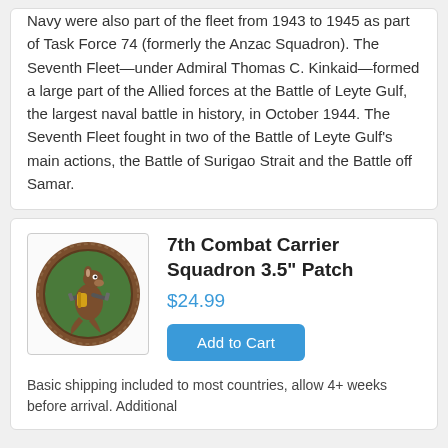Navy were also part of the fleet from 1943 to 1945 as part of Task Force 74 (formerly the Anzac Squadron). The Seventh Fleet—under Admiral Thomas C. Kinkaid—formed a large part of the Allied forces at the Battle of Leyte Gulf, the largest naval battle in history, in October 1944. The Seventh Fleet fought in two of the Battle of Leyte Gulf's main actions, the Battle of Surigao Strait and the Battle off Samar.
[Figure (illustration): Circular military patch with brown border on green background, featuring a cartoon kangaroo character in brown holding guns, with yellow accents]
7th Combat Carrier Squadron 3.5" Patch
$24.99
Add to Cart
Basic shipping included to most countries, allow 4+ weeks before arrival. Additional